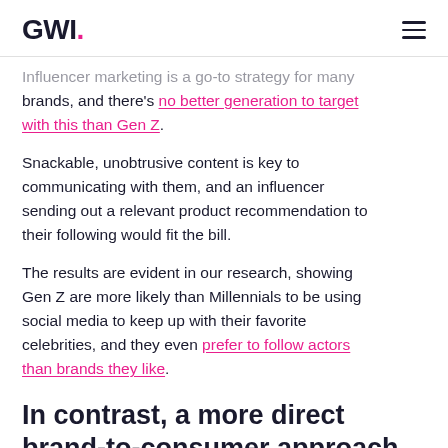GWI.
Influencer marketing is a go-to strategy for many brands, and there's no better generation to target with this than Gen Z.
Snackable, unobtrusive content is key to communicating with them, and an influencer sending out a relevant product recommendation to their following would fit the bill.
The results are evident in our research, showing Gen Z are more likely than Millennials to be using social media to keep up with their favorite celebrities, and they even prefer to follow actors than brands they like.
In contrast, a more direct brand-to-consumer approach is